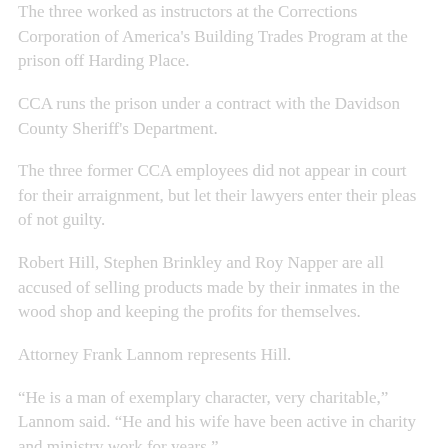The three worked as instructors at the Corrections Corporation of America's Building Trades Program at the prison off Harding Place.
CCA runs the prison under a contract with the Davidson County Sheriff's Department.
The three former CCA employees did not appear in court for their arraignment, but let their lawyers enter their pleas of not guilty.
Robert Hill, Stephen Brinkley and Roy Napper are all accused of selling products made by their inmates in the wood shop and keeping the profits for themselves.
Attorney Frank Lannom represents Hill.
“He is a man of exemplary character, very charitable,” Lannom said. “He and his wife have been active in charity and ministry work for years.”
Prosecutors said some of the prison-made products were sold at the Nashville Flea Market.